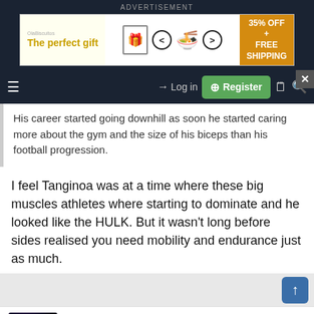ADVERTISEMENT
[Figure (infographic): Advertisement banner: 'The perfect gift' with food bowl image and '35% OFF + FREE SHIPPING' offer]
Navigation bar with hamburger menu, Log in button, Register button, document icon, search icon, and X close button
His career started going downhill as soon he started caring more about the gym and the size of his biceps than his football progression.
I feel Tanginoa was at a time where these big muscles athletes where starting to dominate and he looked like the HULK. But it wasn't long before sides realised you need mobility and endurance just as much.
I'm a loser baby... Immortal   Messages: 40,518